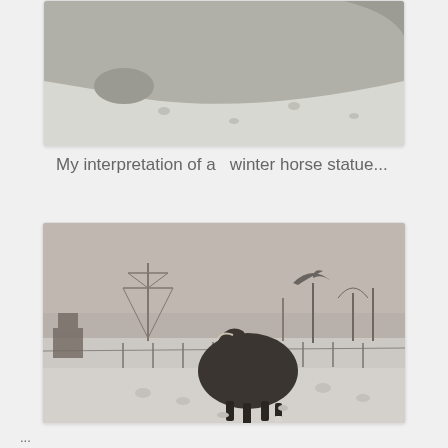[Figure (photo): Close-up photo of a grey/white horse in snow, showing mainly the underbelly and nose area, snowy ground visible]
My interpretation of a  winter horse statue...
[Figure (photo): A dark brown horse walking in a snowy field with fencing, bare trees, and an electricity pylon visible in the background]
...